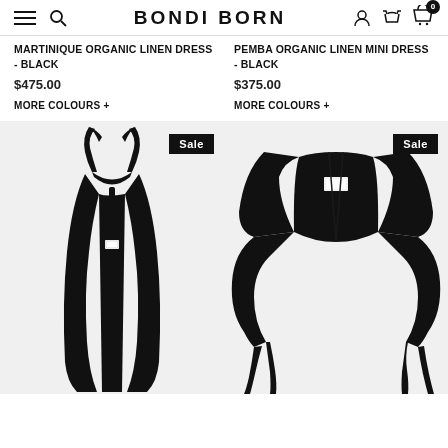BONDI BORN
MARTINIQUE ORGANIC LINEN DRESS - BLACK
$475.00
MORE COLOURS +
PEMBA ORGANIC LINEN MINI DRESS - BLACK
$375.00
MORE COLOURS +
[Figure (photo): Black open-back halter dress with crossed tie detail at back, long length, shown from back angle. Sale badge shown.]
[Figure (photo): Black cropped bolero-style jacket with wide lapels and long sash ties, oversized sleeves. Sale badge shown.]